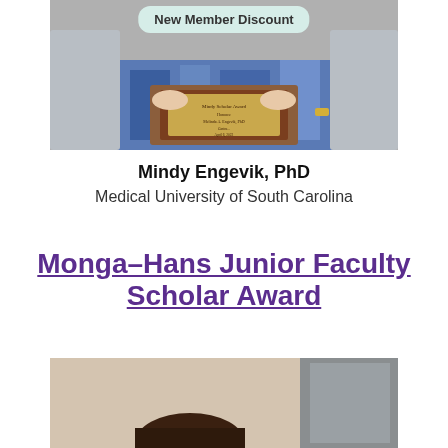[Figure (photo): Person holding a plaque award, with a 'New Member Discount' badge overlay at top]
Mindy Engevik, PhD
Medical University of South Carolina
Monga–Hans Junior Faculty Scholar Award
[Figure (photo): Partial photo of a person, bottom of page]